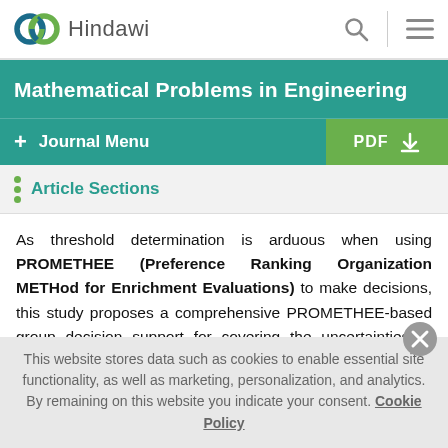Hindawi
Mathematical Problems in Engineering
+ Journal Menu | PDF
Article Sections
As threshold determination is arduous when using PROMETHEE (Preference Ranking Organization METHod for Enrichment Evaluations) to make decisions, this study proposes a comprehensive PROMETHEE-based group decision support for covering the uncertainties of threshold determination, risk
This website stores data such as cookies to enable essential site functionality, as well as marketing, personalization, and analytics. By remaining on this website you indicate your consent. Cookie Policy